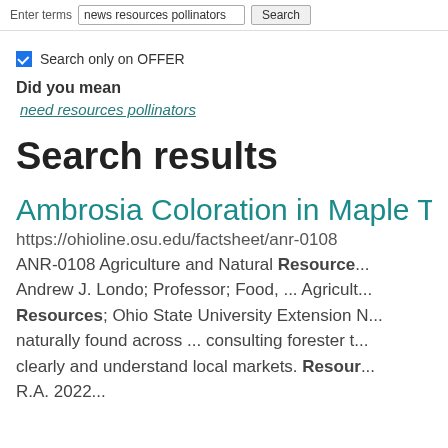Enter terms  news resources pollinators  Search
Search only on OFFER
Did you mean
need resources pollinators
Search results
Ambrosia Coloration in Maple Trees
https://ohioline.osu.edu/factsheet/anr-0108
ANR-0108 Agriculture and Natural Resources Andrew J. Londo; Professor; Food, ... Agriculture Resources; Ohio State University Extension N... naturally found across ... consulting forester t... clearly and understand local markets. Resources R.A. 2022...